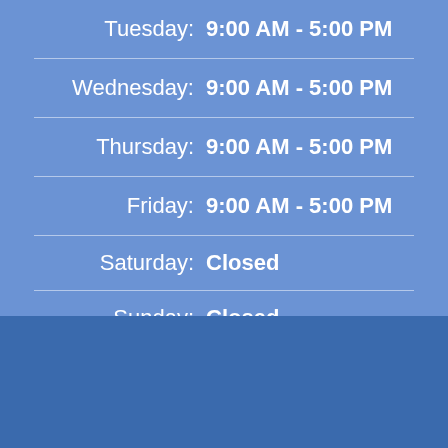Tuesday: 9:00 AM - 5:00 PM
Wednesday: 9:00 AM - 5:00 PM
Thursday: 9:00 AM - 5:00 PM
Friday: 9:00 AM - 5:00 PM
Saturday: Closed
Sunday: Closed